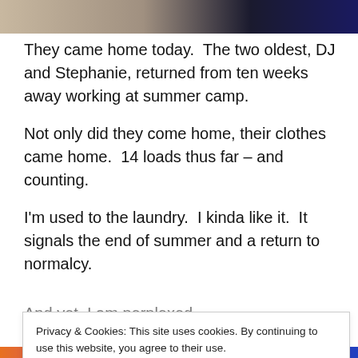[Figure (photo): Partial top image showing what appears to be a tan/beige surface on the left and a dark blue/navy area on the right]
They came home today.  The two oldest, DJ and Stephanie, returned from ten weeks away working at summer camp.
Not only did they come home, their clothes came home.  14 loads thus far – and counting.
I'm used to the laundry.  I kinda like it.  It signals the end of summer and a return to normalcy.
And yet, I am perplexed.
Privacy & Cookies: This site uses cookies. By continuing to use this website, you agree to their use.
To find out more, including how to control cookies, see here: Cookie Policy
Close and accept